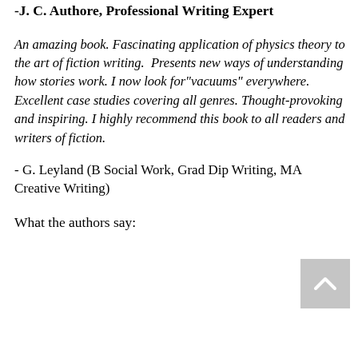-J. C. Authore, Professional Writing Expert
An amazing book. Fascinating application of physics theory to the art of fiction writing.  Presents new ways of understanding how stories work. I now look for"vacuums" everywhere. Excellent case studies covering all genres. Thought-provoking and inspiring. I highly recommend this book to all readers and writers of fiction.
- G. Leyland (B Social Work, Grad Dip Writing, MA Creative Writing)
What the authors say: